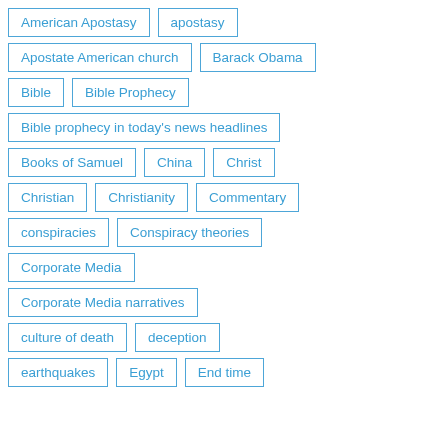American Apostasy
apostasy
Apostate American church
Barack Obama
Bible
Bible Prophecy
Bible prophecy in today's news headlines
Books of Samuel
China
Christ
Christian
Christianity
Commentary
conspiracies
Conspiracy theories
Corporate Media
Corporate Media narratives
culture of death
deception
earthquakes
Egypt
End time